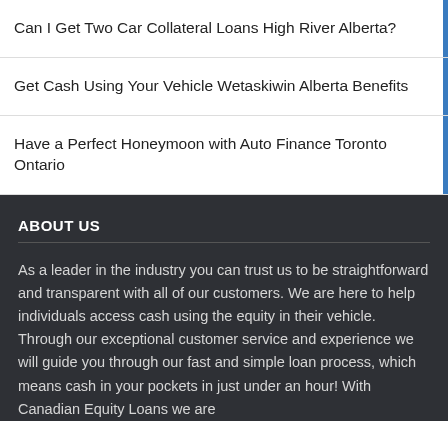Can I Get Two Car Collateral Loans High River Alberta?
Get Cash Using Your Vehicle Wetaskiwin Alberta Benefits
Have a Perfect Honeymoon with Auto Finance Toronto Ontario
ABOUT US
As a leader in the industry you can trust us to be straightforward and transparent with all of our customers. We are here to help individuals access cash using the equity in their vehicle. Through our exceptional customer service and experience we will guide you through our fast and simple loan process, which means cash in your pockets in just under an hour! With Canadian Equity Loans we are